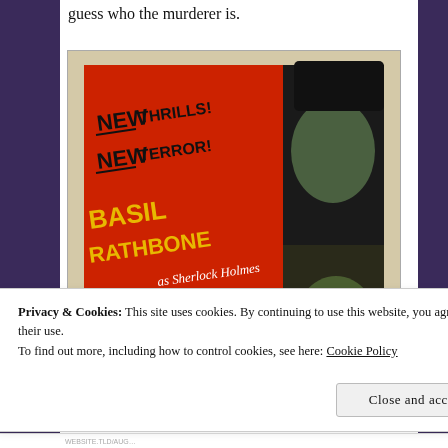guess who the murderer is.
[Figure (photo): Vintage movie poster for a Sherlock Holmes film featuring Basil Rathbone as Sherlock Holmes and Nigel Bruce as Dr. Watson. The poster has a red background with text: 'NEW THRILLS! NEW TERROR!' and shows two illustrated male faces. Text reads: 'BASIL RATHBONE as Sherlock Holmes NIGEL BRUCE as Dr. Watson']
Privacy & Cookies: This site uses cookies. By continuing to use this website, you agree to their use.
To find out more, including how to control cookies, see here: Cookie Policy
Close and accept